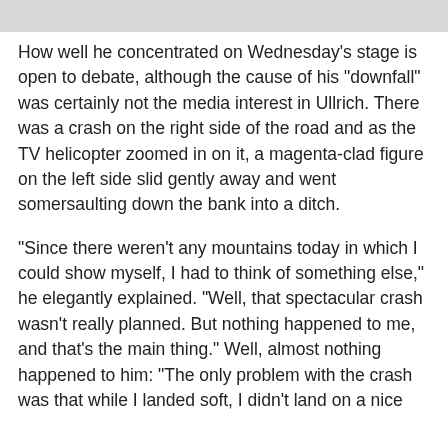How well he concentrated on Wednesday's stage is open to debate, although the cause of his "downfall" was certainly not the media interest in Ullrich. There was a crash on the right side of the road and as the TV helicopter zoomed in on it, a magenta-clad figure on the left side slid gently away and went somersaulting down the bank into a ditch.
"Since there weren't any mountains today in which I could show myself, I had to think of something else," he elegantly explained. "Well, that spectacular crash wasn't really planned. But nothing happened to me, and that's the main thing." Well, almost nothing happened to him: "The only problem with the crash was that while I landed soft, I didn't land on a nice